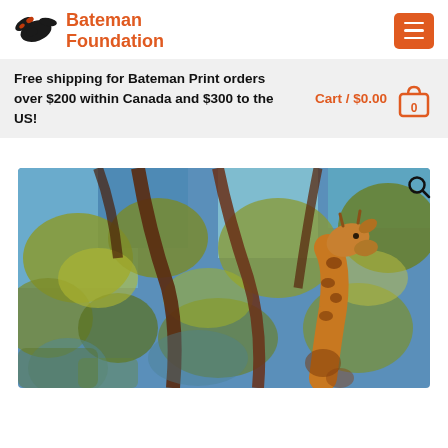[Figure (logo): Bateman Foundation logo with black bird and orange text]
Free shipping for Bateman Print orders over $200 within Canada and $300 to the US!
Cart / $0.00
[Figure (photo): Impressionist-style painting of a giraffe surrounded by blue and green foliage with brown tree branches]